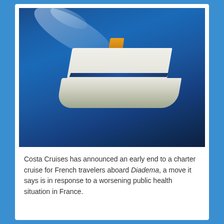[Figure (photo): Aerial view of a Costa Cruises cruise ship (Costa Diadema) sailing through deep blue ocean water, viewed from above at an angle, with a white wake trail behind it. The ship has distinctive white hull with blue and gold stripes, an orange funnel, and multiple decks with orange lifeboats visible.]
Costa Cruises has announced an early end to a charter cruise for French travelers aboard Diadema, a move it says is in response to a worsening public health situation in France.